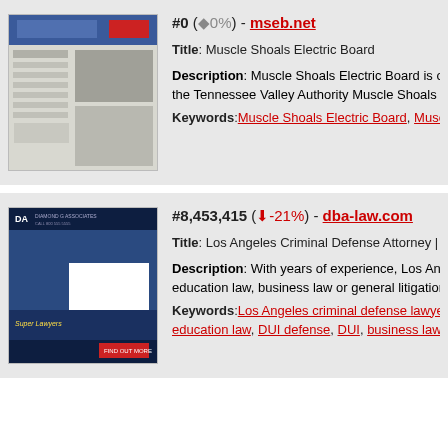[Figure (screenshot): Screenshot thumbnail of mseb.net website - Muscle Shoals Electric Board]
#0 (◆0%) - mseb.net
Title: Muscle Shoals Electric Board
Description: Muscle Shoals Electric Board is one of the Ten... the Tennessee Valley Authority Muscle Shoals Reservation, a...
Keywords: Muscle Shoals Electric Board, Muscle Shoals, Ala...
[Figure (screenshot): Screenshot thumbnail of dba-law.com website - Los Angeles Criminal Defense Attorney]
#8,453,415 (↓-21%) - dba-law.com
Title: Los Angeles Criminal Defense Attorney | Lawyer for Pe...
Description: With years of experience, Los Angeles lawyer... education law, business law or general litigation. Call today fo...
Keywords: Los Angeles criminal defense lawyer, Los Angele... education law, DUI defense, DUI, business lawyer, Business...